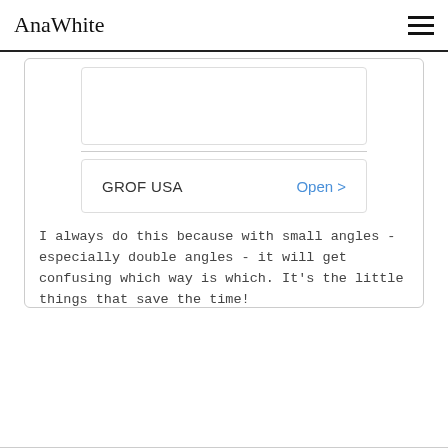AnaWhite
[Figure (other): Partial view of a white rounded card box with inner bordered box visible at top]
GROF USA   Open >
I always do this because with small angles - especially double angles - it will get confusing which way is which. It's the little things that save the time!